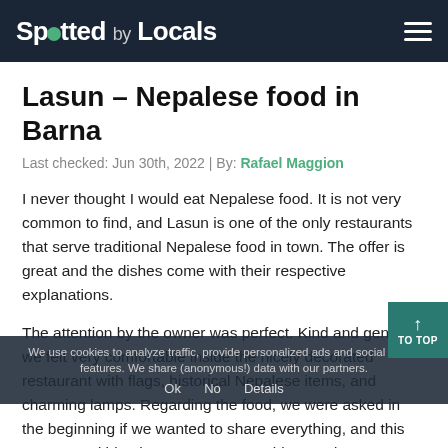Spotted by Locals
Lasun – Nepalese food in Barna
Last checked: Jun 30th, 2022 | By: Rafael Maggion
I never thought I would eat Nepalese food. It is not very common to find, and Lasun is one of the only restaurants that serve traditional Nepalese food in town. The offer is great and the dishes come with their respective explanations.
The attention by the owner was perfect. Kind and gentle, we felt very comfortable inside the nicely decorated restaurant with flags, historical Nepalese items, and charming lamps. Regarding the food, we were asked in the beginning if we wanted to share everything, and this was a good idea because we were able to order many dishes so we could taste as many as we could.
We ordered 3 entrees, one of them was a kind of peanut
We use cookies to analyze traffic, provide personalized ads and social media features. We share (anonymous!) data with our partners.